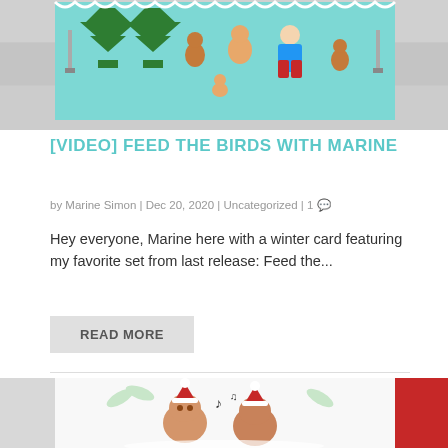[Figure (photo): Top portion of a crafting card showing illustrated woodland animals, squirrels, a girl character, and Christmas trees on a teal/mint background, partially cropped]
[VIDEO] FEED THE BIRDS WITH MARINE
by Marine Simon | Dec 20, 2020 | Uncategorized | 1
Hey everyone, Marine here with a winter card featuring my favorite set from last release: Feed the...
READ MORE
[Figure (photo): Bottom portion of a crafting card showing illustrated animals wearing Santa hats with musical notes, partially cropped]